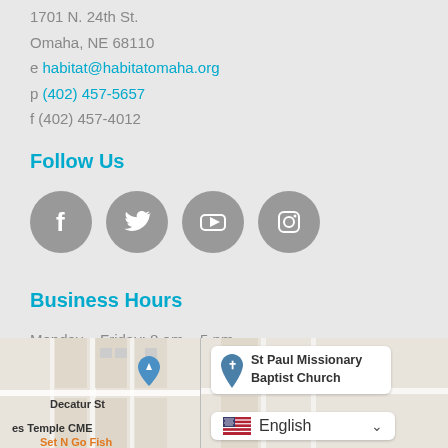1701 N. 24th St.
Omaha, NE 68110
e habitat@habitatomaha.org
p (402) 457-5657
f (402) 457-4012
Follow Us
[Figure (illustration): Four gray circular social media icons: Facebook, Twitter, YouTube, Instagram]
Business Hours
Monday – Friday: 8 am – 5 pm
Saturday – Sunday: Closed
[Figure (map): Two map snippets side by side. Left map shows Decatur St and es Temple CME labels with navigation pin. Right map shows St Paul Missionary Baptist Church location pin and an English language selector overlay.]